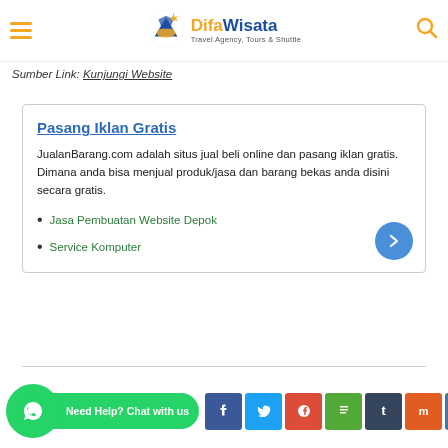DifaWisata Travel Agency, Tours & Shuttle
Sumber Link: Kunjungi Website
Pasang Iklan Gratis
JualanBarang.com adalah situs jual beli online dan pasang iklan gratis. Dimana anda bisa menjual produk/jasa dan barang bekas anda disini secara gratis.
Jasa Pembuatan Website Depok
Service Komputer
Need Help? Chat with us